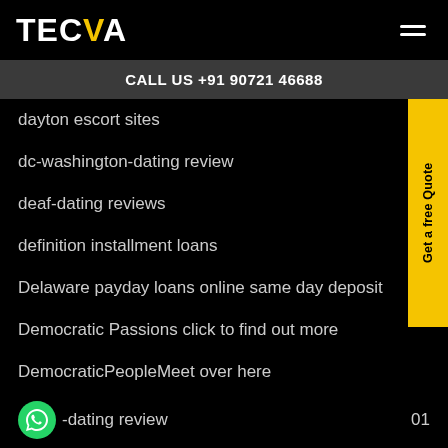TECVA
CALL US +91 90721 46688
dayton escort sites    01
dc-washington-dating review    01
deaf-dating reviews    01
definition installment loans
Delaware payday loans online same day deposit
Democratic Passions click to find out more
DemocraticPeopleMeet over here
d  -dating review    01
denton escort    01
denver escort    01